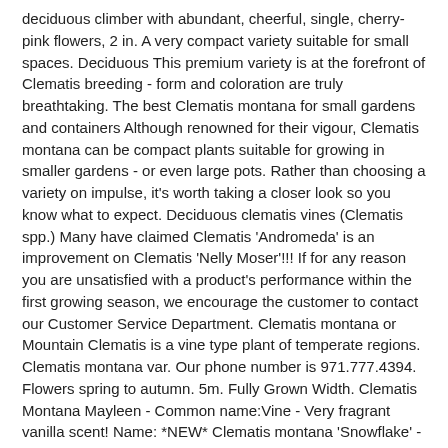deciduous climber with abundant, cheerful, single, cherry-pink flowers, 2 in. A very compact variety suitable for small spaces. Deciduous This premium variety is at the forefront of Clematis breeding - form and coloration are truly breathtaking. The best Clematis montana for small gardens and containers Although renowned for their vigour, Clematis montana can be compact plants suitable for growing in smaller gardens - or even large pots. Rather than choosing a variety on impulse, it's worth taking a closer look so you know what to expect. Deciduous clematis vines (Clematis spp.) Many have claimed Clematis 'Andromeda' is an improvement on Clematis 'Nelly Moser'!!! If for any reason you are unsatisfied with a product's performance within the first growing season, we encourage the customer to contact our Customer Service Department. Clematis montana or Mountain Clematis is a vine type plant of temperate regions. Clematis montana var. Our phone number is 971.777.4394. Flowers spring to autumn. 5m. Fully Grown Width. Clematis Montana Mayleen - Common name:Vine - Very fragrant vanilla scent! Name: *NEW* Clematis montana 'Snowflake' - White scented flowers. Here is a gallery of some recommended varieties from the National Collection at the garden of Val Le Neville-Parry. It the base is in direct sun, as in, if sunlight will hit the root collar, then cover it with for example an old tile or a few odd rocks. ... Clematis montana 'Snowflake' Fully Grown Height. Masses of white flowers in spring. Model Number. Add to Wishlist | Add to Compare ; Ficus 'Frosty' 12cm. Clematis hybrid Group 3 Quantity: 1 x Clematis 'Andromeda' is a wonderful NEW Clematis with large creamy pink flowers that are brought to life by the darker pink centers and golden yellow stamens. In Store Only. Her fine art prints are available for purchase in the